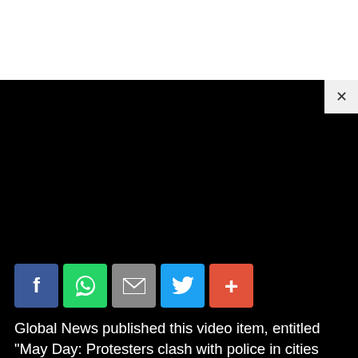[Figure (screenshot): Black video player area with a close (X) button in the top-right corner on a light background tab.]
[Figure (infographic): Social media share buttons row: Facebook (blue), WhatsApp (green), Email (grey), Twitter (light blue), More/Plus (red-orange).]
Global News published this video item, entitled “May Day: Protesters clash with police in cities across the world” – below is their description.